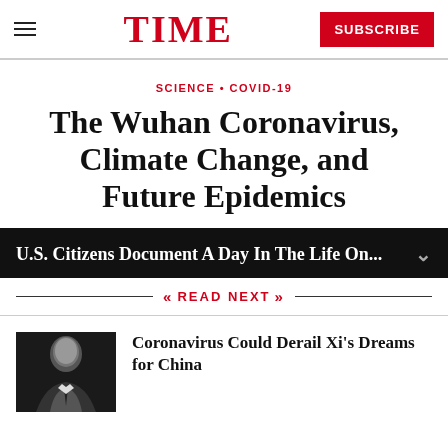TIME | SUBSCRIBE
SCIENCE • COVID-19
The Wuhan Coronavirus, Climate Change, and Future Epidemics
U.S. Citizens Document A Day In The Life On...
READ NEXT
[Figure (photo): Black and white photo of Xi Jinping]
Coronavirus Could Derail Xi's Dreams for China